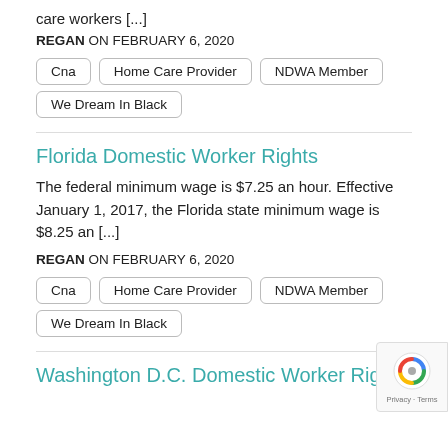care workers [...]
REGAN ON FEBRUARY 6, 2020
Cna
Home Care Provider
NDWA Member
We Dream In Black
Florida Domestic Worker Rights
The federal minimum wage is $7.25 an hour. Effective January 1, 2017, the Florida state minimum wage is $8.25 an [...]
REGAN ON FEBRUARY 6, 2020
Cna
Home Care Provider
NDWA Member
We Dream In Black
Washington D.C. Domestic Worker Rights